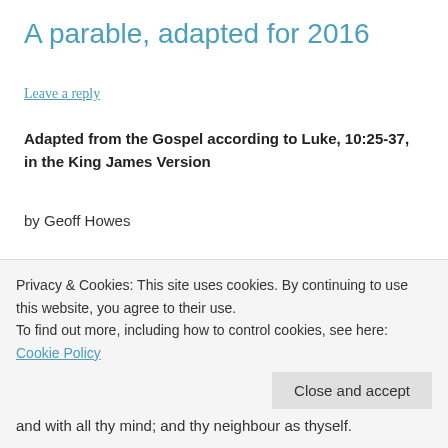A parable, adapted for 2016
Leave a reply
Adapted from the Gospel according to Luke, 10:25-37, in the King James Version
by Geoff Howes
And, behold, a certain lawyer stood up, and tempted him,
Privacy & Cookies: This site uses cookies. By continuing to use this website, you agree to their use.
To find out more, including how to control cookies, see here: Cookie Policy
Close and accept
and with all thy mind; and thy neighbour as thyself.